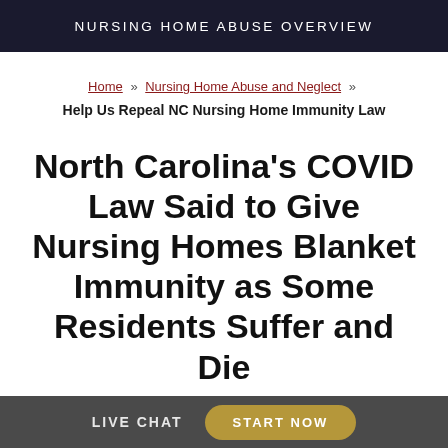NURSING HOME ABUSE OVERVIEW
Home » Nursing Home Abuse and Neglect » Help Us Repeal NC Nursing Home Immunity Law
North Carolina's COVID Law Said to Give Nursing Homes Blanket Immunity as Some Residents Suffer and Die
LIVE CHAT   START NOW